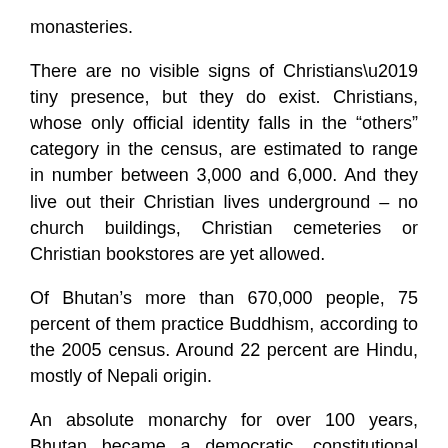monasteries.
There are no visible signs of Christians’ tiny presence, but they do exist. Christians, whose only official identity falls in the “others” category in the census, are estimated to range in number between 3,000 and 6,000. And they live out their Christian lives underground – no church buildings, Christian cemeteries or Christian bookstores are yet allowed.
Of Bhutan’s more than 670,000 people, 75 percent of them practice Buddhism, according to the 2005 census. Around 22 percent are Hindu, mostly of Nepali origin.
An absolute monarchy for over 100 years, Bhutan became a democratic, constitutional monarchy in March 2008, as per the wish of the former King of Bhutan, Jigme Singye